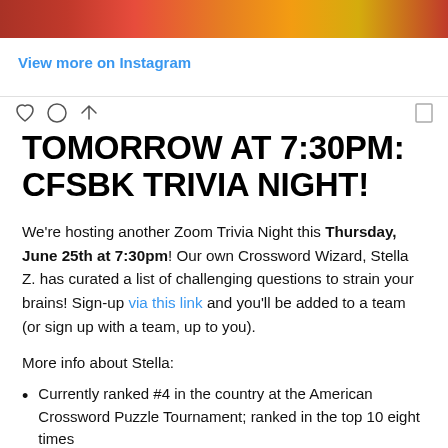[Figure (photo): Top strip showing partial image of colorful decorations (red and yellow), cropped at top of page]
View more on Instagram
TOMORROW AT 7:30PM: CFSBK TRIVIA NIGHT!
We're hosting another Zoom Trivia Night this Thursday, June 25th at 7:30pm! Our own Crossword Wizard, Stella Z. has curated a list of challenging questions to strain your brains! Sign-up via this link and you'll be added to a team (or sign up with a team, up to you).
More info about Stella:
Currently ranked #4 in the country at the American Crossword Puzzle Tournament; ranked in the top 10 eight times
She make crosswords too, and her latest appeared